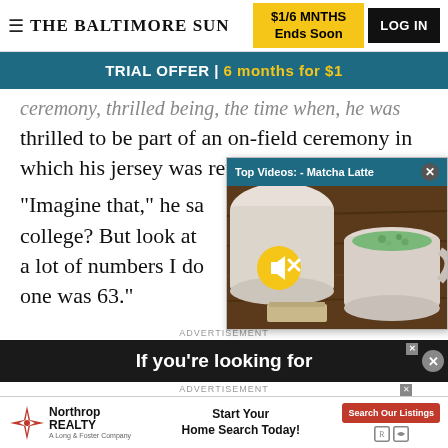THE BALTIMORE SUN | $1/6 MNTHS Ends Soon | LOG IN
TRIAL OFFER | 6 months for $1
thrilled to be part of an on-field ceremony in which his jersey was retired
[Figure (screenshot): Video popup showing 'Top Videos: - Matcha Latte' with a thumbnail image of a matcha latte cup on a wooden table, with mute button overlay]
"Imagine that," he sa… college? But look at … a lot of numbers I do… one was 63."
ADVERTISEMENT
[Figure (screenshot): Advertisement banner: 'If you're looking for' in white text on dark background]
ADVERTISEMENT
[Figure (screenshot): Northrop Realty advertisement: 'Start Your Home Search Today!' with Search Our Listings button]